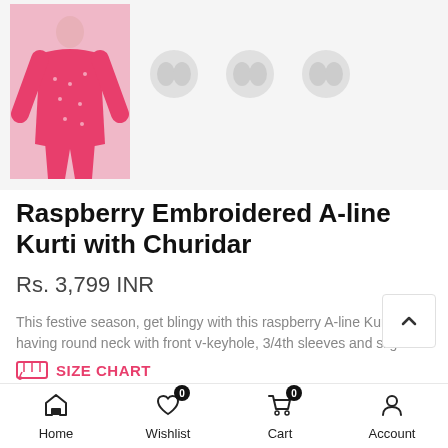[Figure (photo): Pink raspberry A-line Kurti with Churidar product photo with three thumbnail image placeholders to the right]
Raspberry Embroidered A-line Kurti with Churidar
Rs. 3,799 INR
This festive season, get blingy with this raspberry A-line Kurti having round neck with front v-keyhole, 3/4th sleeves and slight...
SIZE CHART
Home  Wishlist  Cart  Account